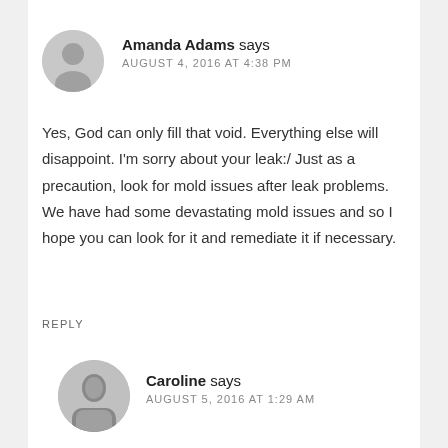Amanda Adams says AUGUST 4, 2016 AT 4:38 PM
Yes, God can only fill that void. Everything else will disappoint. I'm sorry about your leak:/ Just as a precaution, look for mold issues after leak problems. We have had some devastating mold issues and so I hope you can look for it and remediate it if necessary.
REPLY
Caroline says AUGUST 5, 2016 AT 1:29 AM